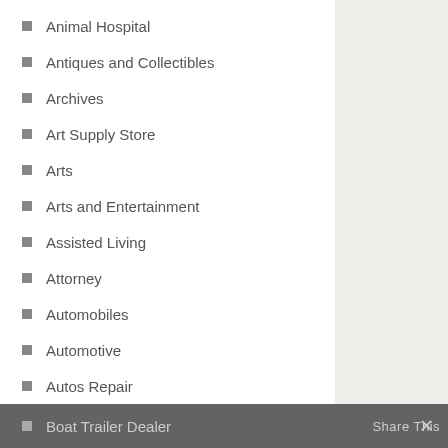Animal Hospital
Antiques and Collectibles
Archives
Art Supply Store
Arts
Arts and Entertainment
Assisted Living
Attorney
Automobiles
Automotive
Autos Repair
Bankruptcy
Beach Clothing Store
Beauty and Cosmetic Services
Beauty Salons & Barbers
Boat Trailer Dealer
Builders (Contractors